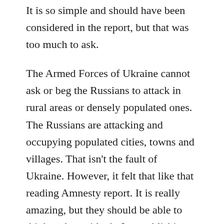It is so simple and should have been considered in the report, but that was too much to ask.
The Armed Forces of Ukraine cannot ask or beg the Russians to attack in rural areas or densely populated ones. The Russians are attacking and occupying populated cities, towns and villages. That isn't the fault of Ukraine. However, it felt that like that reading Amnesty report. It is really amazing, but they should be able to think and consider before publishing this.
The analysts and the ones studying the war or warfare in Amnesty International. They clearly need to study what a defensive war entails and what an offensive aggressor does. Because, the Ukrainian Armed Forces are defending themselves and to whatever means they see fit. While they